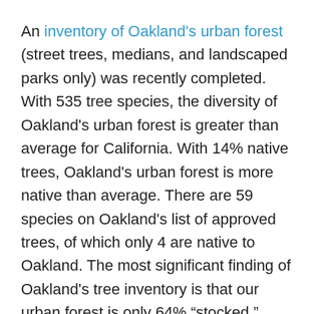An inventory of Oakland's urban forest (street trees, medians, and landscaped parks only) was recently completed.  With 535 tree species, the diversity of Oakland's urban forest is greater than average for California.  With 14% native trees, Oakland's urban forest is more native than average. There are 59 species on Oakland's list of approved trees, of which only 4 are native to Oakland.  The most significant finding of Oakland's tree inventory is that our urban forest is only 64% “stocked,” meaning that of existing tree wells, only 64% are currently planted with trees.  When trees die in Oakland, they aren’t being replaced.  I don’t doubt there is a will to plant trees in Oakland.  I assume it is a question of means in a city with more pressing needs than resources.
Ritter and his colleagues at Cal Poly have created a